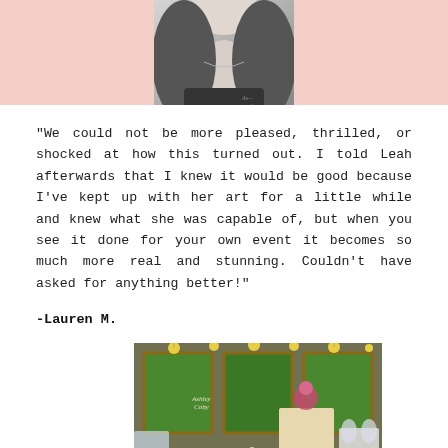[Figure (photo): Partial grayscale portrait photo of a woman with long hair and necklace, on a pink background. The image is cropped showing neck and lower face area. An artist signature is visible in the lower right of the image area.]
"We could not be more pleased, thrilled, or shocked at how this turned out. I told Leah afterwards that I knew it would be good because I've kept up with her art for a little while and knew what she was capable of, but when you see it done for your own event it becomes so much more real and stunning. Couldn't have asked for anything better!"
-Lauren M.
[Figure (photo): A colorful painting of a wedding reception scene. A bride in a white/lavender gown and groom in a dark suit are dancing with raised arms in the center. The venue has large windows showing a green landscape outside, yellow light globes hanging from the ceiling, decorated tables with white chair covers on the right, and a cake table. The letter 'M' is visible on the dance floor. A white circular button with three dark red dots is overlaid in the bottom right corner.]